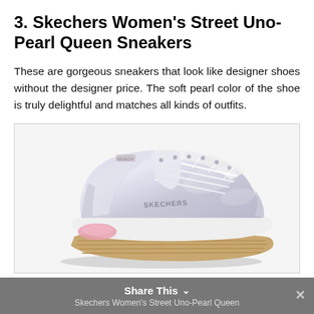3. Skechers Women's Street Uno-Pearl Queen Sneakers
These are gorgeous sneakers that look like designer shoes without the designer price. The soft pearl color of the shoe is truly delightful and matches all kinds of outfits.
[Figure (photo): A Skechers Women's Street Uno-Pearl Queen Sneaker in pearl/silver color with white sole, pink air cushion heel, and gum-colored outsole, shown at a three-quarter angle.]
Share This ∨  Skechers Women's Street Uno-Pearl Queen  ×